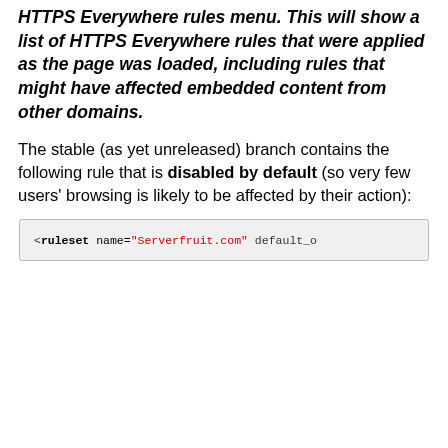HTTPS Everywhere rules menu. This will show a list of HTTPS Everywhere rules that were applied as the page was loaded, including rules that might have affected embedded content from other domains.
The stable (as yet unreleased) branch contains the following rule that is disabled by default (so very few users' browsing is likely to be affected by their action):
<!--
Disabled by https-everywhere-checker because
Fetch error: http://client.serverfruit.com/ =

        Mixed content:

                - css on www from fonts.goog

        * Secured by us

--><ruleset name="Serverfruit.com" default_o